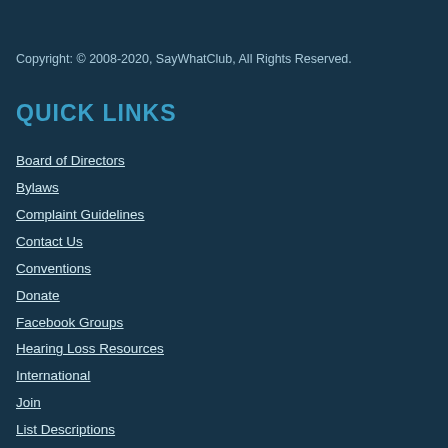Copyright: © 2008-2020, SayWhatClub, All Rights Reserved.
QUICK LINKS
Board of Directors
Bylaws
Complaint Guidelines
Contact Us
Conventions
Donate
Facebook Groups
Hearing Loss Resources
International
Join
List Descriptions
Mission Statement
Service Terms Agreement